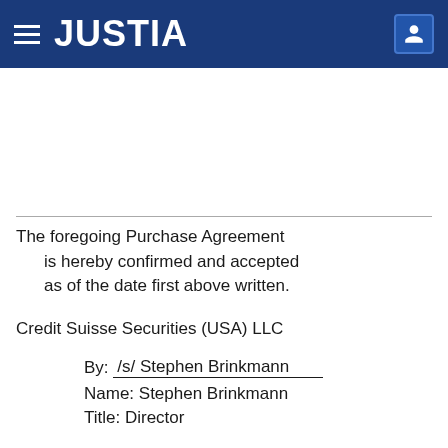JUSTIA
The foregoing Purchase Agreement is hereby confirmed and accepted as of the date first above written.
Credit Suisse Securities (USA) LLC
By: /s/ Stephen Brinkmann
Name: Stephen Brinkmann
Title: Director